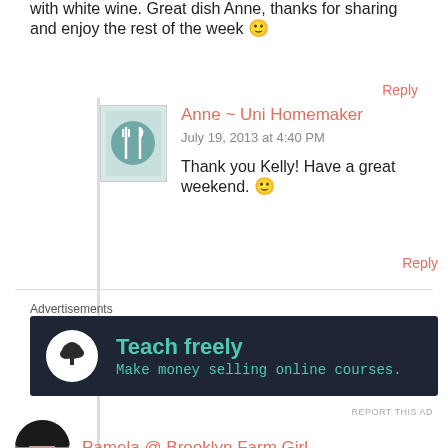with white wine. Great dish Anne, thanks for sharing and enjoy the rest of the week 🙂
Reply
Anne ~ Uni Homemaker
July 19, 2013 at 4:40 PM
Thank you Kelly! Have a great weekend. 🙂
Reply
Advertisements
[Figure (other): Advertisement banner with dark background showing 'Teach freely - Make money selling online courses.' with a tree logo icon]
REPORT THIS AD
Pamela @ Brooklyn Farm Girl